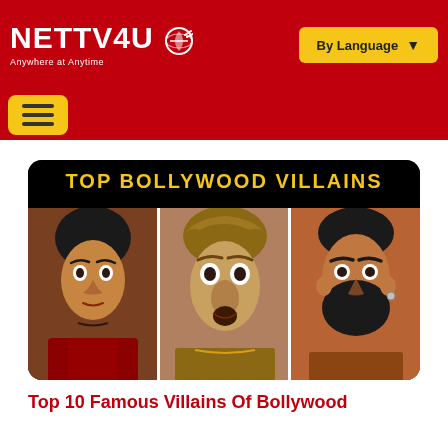[Figure (logo): NETTV4U logo with satellite dish icon and tagline 'Anywhere at Anytime']
[Figure (other): By Language dropdown button with yellow background]
[Figure (other): Hamburger menu button with yellow background]
[Figure (photo): Composite image showing three Bollywood villains with text 'TOP BOLLYWOOD VILLAINS' overlay on black background]
Top 10 Famous Villains Of Bollywood